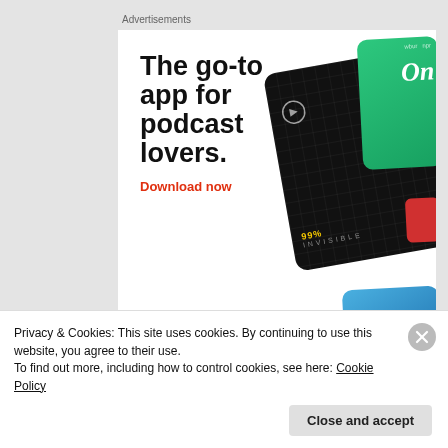Advertisements
[Figure (advertisement): Pocket Casts app advertisement. Headline: 'The go-to app for podcast lovers.' with 'Download now' in red. Pocket Casts logo at bottom left. Right side shows podcast app cards including 99% Invisible (black), a green card, The Daily (blue), and a red card.]
REPORT THIS AD
[Figure (photo): User avatar photo of a blonde woman]
elvira797mx
June 10, 2022 at 8:32 am
Privacy & Cookies: This site uses cookies. By continuing to use this website, you agree to their use.
To find out more, including how to control cookies, see here: Cookie Policy
Close and accept